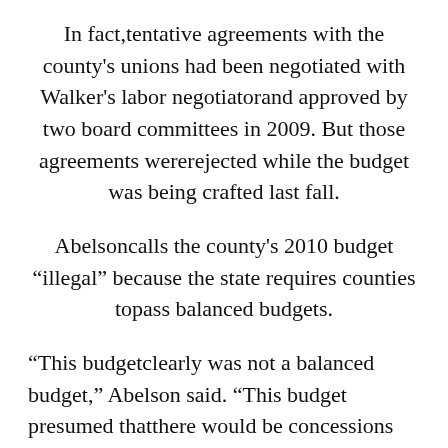In fact,tentative agreements with the county's unions had been negotiated with Walker's labor negotiatorand approved by two board committees in 2009. But those agreements wererejected while the budget was being crafted last fall.
Abelsoncalls the county's 2010 budget “illegal” because the state requires counties topass balanced budgets.
“This budgetclearly was not a balanced budget,” Abelson said. “This budget presumed thatthere would be concessions from the unions that at the time that they passedthe budget hadn’t even been proposed. I don’t know how you can